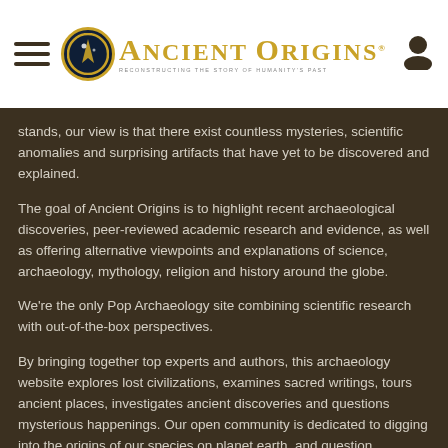Ancient Origins — Reconstructing the story of humanity's past
stands, our view is that there exist countless mysteries, scientific anomalies and surprising artifacts that have yet to be discovered and explained.
The goal of Ancient Origins is to highlight recent archaeological discoveries, peer-reviewed academic research and evidence, as well as offering alternative viewpoints and explanations of science, archaeology, mythology, religion and history around the globe.
We're the only Pop Archaeology site combining scientific research with out-of-the-box perspectives.
By bringing together top experts and authors, this archaeology website explores lost civilizations, examines sacred writings, tours ancient places, investigates ancient discoveries and questions mysterious happenings. Our open community is dedicated to digging into the origins of our species on planet earth, and question wherever the discoveries might take us. We seek to retell the story of our origins in...